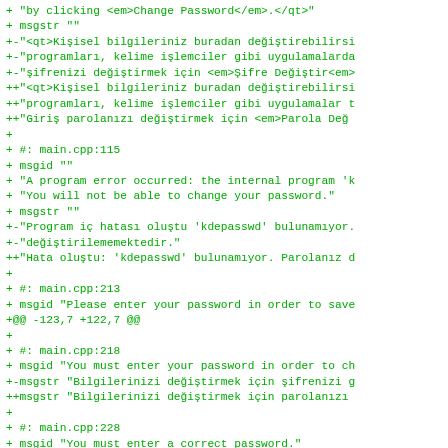Code diff output showing gettext/po file changes with Turkish translations